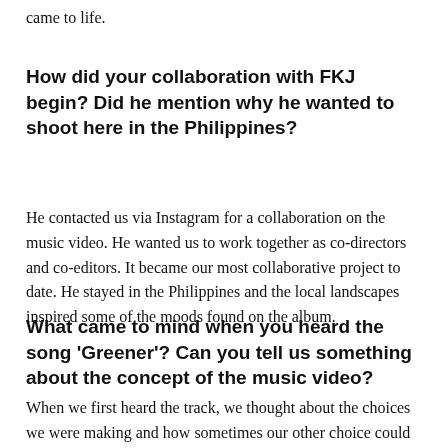came to life.
How did your collaboration with FKJ begin? Did he mention why he wanted to shoot here in the Philippines?
He contacted us via Instagram for a collaboration on the music video. He wanted us to work together as co-directors and co-editors. It became our most collaborative project to date. He stayed in the Philippines and the local landscapes inspired some of the moods found on the album.
What came to mind when you heard the song ‘Greener’? Can you tell us something about the concept of the music video?
When we first heard the track, we thought about the choices we were making and how sometimes our other choice could have brought us more. So we wanted to play with the idea of a double